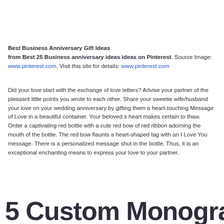Best Business Anniversary Gift Ideas from Best 25 Business anniversary ideas ideas on Pinterest. Source Image: www.pinterest.com. Visit this site for details: www.pinterest.com
Did your love start with the exchange of love letters? Advise your partner of the pleasant little points you wrote to each other. Share your sweetie wife/husband your love on your wedding anniversary by gifting them a heart-touching Message of Love in a beautiful container. Your beloved s heart makes certain to thaw. Order a captivating red bottle with a cute red bow of red ribbon adorning the mouth of the bottle. The red bow flaunts a heart-shaped tag with an I Love You message. There is a personalized message shut in the bottle. Thus, it is an exceptional enchanting means to express your love to your partner.
5 Custom Monogram And YOUR